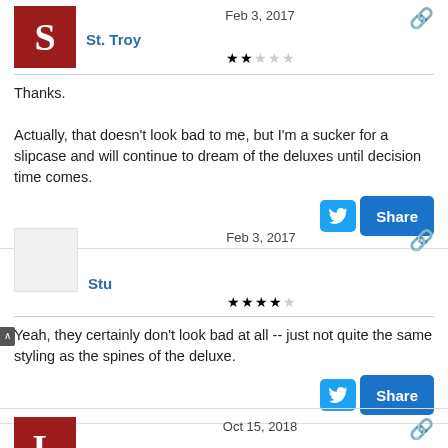Feb 3, 2017
St. Troy
★★☆☆☆ (2 stars)
Thanks.

Actually, that doesn't look bad to me, but I'm a sucker for a slipcase and will continue to dream of the deluxes until decision time comes.
Feb 3, 2017
Stu
★★★★☆ (4 stars)
Yeah, they certainly don't look bad at all -- just not quite the same styling as the spines of the deluxe.
Oct 15, 2018